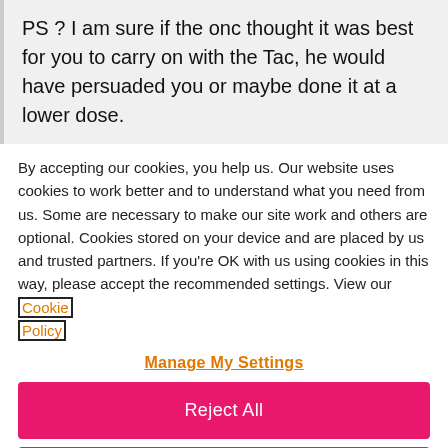PS ? I am sure if the onc thought it was best for you to carry on with the Tac, he would have persuaded you or maybe done it at a lower dose.
By accepting our cookies, you help us. Our website uses cookies to work better and to understand what you need from us. Some are necessary to make our site work and others are optional. Cookies stored on your device and are placed by us and trusted partners. If you're OK with us using cookies in this way, please accept the recommended settings. View our Cookie Policy
Manage My Settings
Reject All
Accept All Cookies